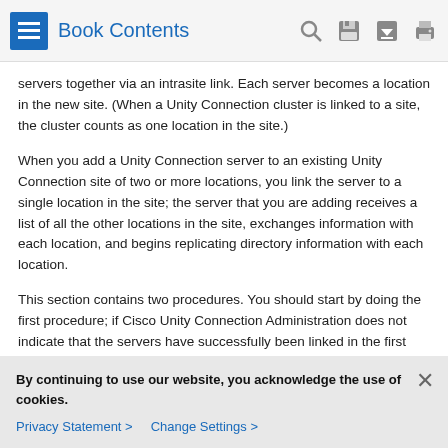Book Contents
servers together via an intrasite link. Each server becomes a location in the new site. (When a Unity Connection cluster is linked to a site, the cluster counts as one location in the site.)
When you add a Unity Connection server to an existing Unity Connection site of two or more locations, you link the server to a single location in the site; the server that you are adding receives a list of all the other locations in the site, exchanges information with each location, and begins replicating directory information with each location.
This section contains two procedures. You should start by doing the first procedure; if Cisco Unity Connection Administration does not indicate that the servers have successfully been linked in the first procedure, do the second procedure. Then, repeat the process for each additional server
By continuing to use our website, you acknowledge the use of cookies.
Privacy Statement >   Change Settings >